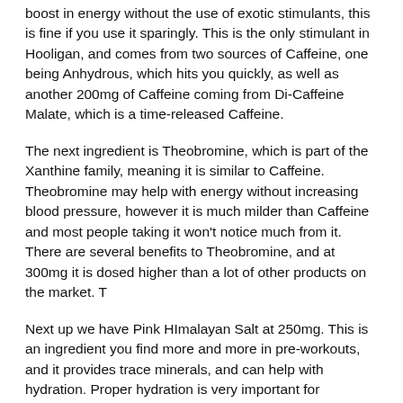boost in energy without the use of exotic stimulants, this is fine if you use it sparingly. This is the only stimulant in Hooligan, and comes from two sources of Caffeine, one being Anhydrous, which hits you quickly, as well as another 200mg of Caffeine coming from Di-Caffeine Malate, which is a time-released Caffeine.
The next ingredient is Theobromine, which is part of the Xanthine family, meaning it is similar to Caffeine. Theobromine may help with energy without increasing blood pressure, however it is much milder than Caffeine and most people taking it won't notice much from it. There are several benefits to Theobromine, and at 300mg it is dosed higher than a lot of other products on the market. T
Next up we have Pink HImalayan Salt at 250mg. This is an ingredient you find more and more in pre-workouts, and it provides trace minerals, and can help with hydration. Proper hydration is very important for performance and pumps. Next up we have Rhodiola Rosea, which is an adaptogen. Rhodiola is one of the